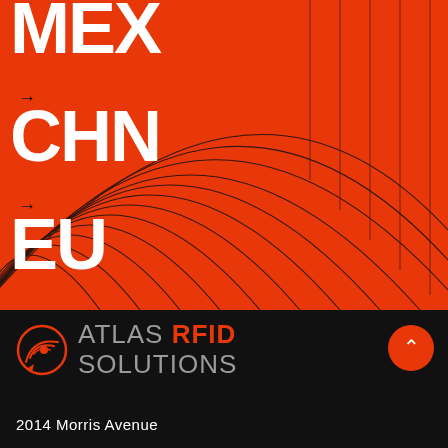[Figure (infographic): Orange background with large white bold text showing MEX, CHN, EU with black arrows between them, and decorative concentric curved lines radiating from lower left]
[Figure (logo): Atlas RFID Solutions logo on black background — circular eye/wave icon in orange, text ATLAS in grey, RFID in orange, SOLUTIONS in grey]
2014 Morris Avenue